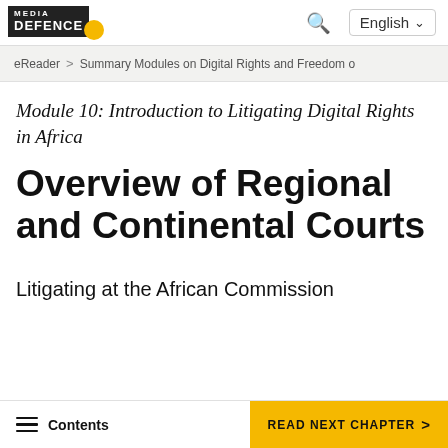MEDIA DEFENCE | English
eReader > Summary Modules on Digital Rights and Freedom o
Module 10: Introduction to Litigating Digital Rights in Africa
Overview of Regional and Continental Courts
Litigating at the African Commission
Contents | READ NEXT CHAPTER >